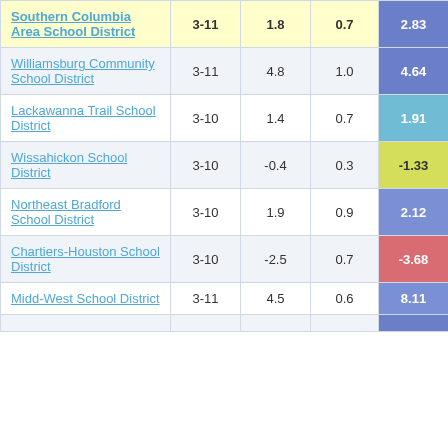| District | Grades | Col3 | Col4 | Score |
| --- | --- | --- | --- | --- |
| Southern Columbia Area School District | 3-11 | 1.8 | 0.7 | 2.83 |
| Williamsburg Community School District | 3-11 | 4.8 | 1.0 | 4.64 |
| Lackawanna Trail School District | 3-10 | 1.4 | 0.7 | 1.91 |
| Wissahickon School District | 3-10 | -0.4 | 0.3 | -1.33 |
| Northeast Bradford School District | 3-10 | 1.9 | 0.9 | 2.12 |
| Chartiers-Houston School District | 3-10 | -2.5 | 0.7 | -3.68 |
| Midd-West School District | 3-11 | 4.5 | 0.6 | 8.11 |